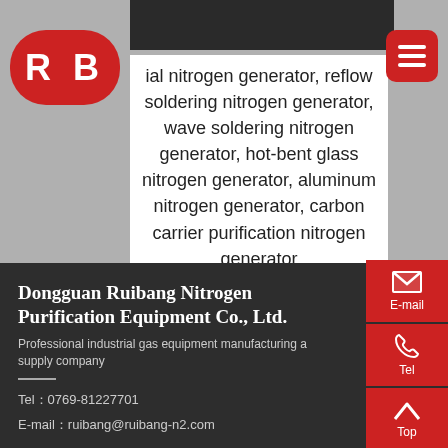[Figure (logo): RB logo with red rounded rectangle background, white bold letters R and B]
ial nitrogen generator, reflow soldering nitrogen generator, wave soldering nitrogen generator, hot-bent glass nitrogen generator, aluminum nitrogen generator, carbon carrier purification nitrogen generator
[Figure (other): Dark menu/hamburger icon button in red rounded square, top right]
Dongguan Ruibang Nitrogen Purification Equipment Co., Ltd.
Professional industrial gas equipment manufacturing and supply company
Tel：0769-81227701
E-mail：ruibang@ruibang-n2.com
[Figure (other): Red E-mail button with envelope icon on right side]
[Figure (other): Red Tel button with phone icon on right side]
[Figure (other): Red Top/back-to-top button with up arrow icon on right side]